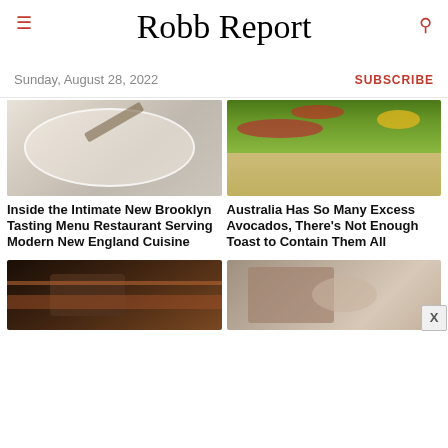Robb Report
Sunday, August 28, 2022
SUBSCRIBE
[Figure (photo): Close-up of an elegant plated dish on a white plate with a knife, shown from above on a white background]
[Figure (photo): Avocado toast topped with sliced radishes, tomatoes, and greens on a white plate]
Inside the Intimate New Brooklyn Tasting Menu Restaurant Serving Modern New England Cuisine
Australia Has So Many Excess Avocados, There's Not Enough Toast to Contain Them All
[Figure (photo): Meat being sliced, likely in a restaurant kitchen, with dark background]
[Figure (photo): Metal kitchen equipment or cookware in a professional kitchen setting]